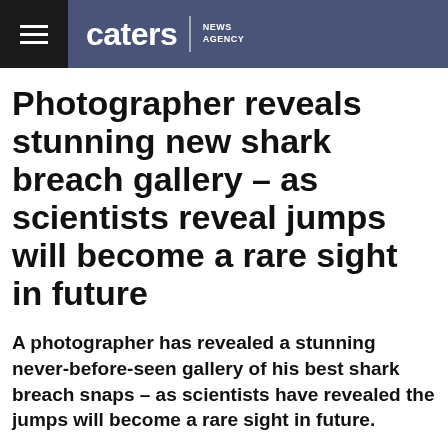caters NEWS AGENCY
Photographer reveals stunning new shark breach gallery – as scientists reveal jumps will become a rare sight in future
A photographer has revealed a stunning never-before-seen gallery of his best shark breach snaps – as scientists have revealed the jumps will become a rare sight in future.